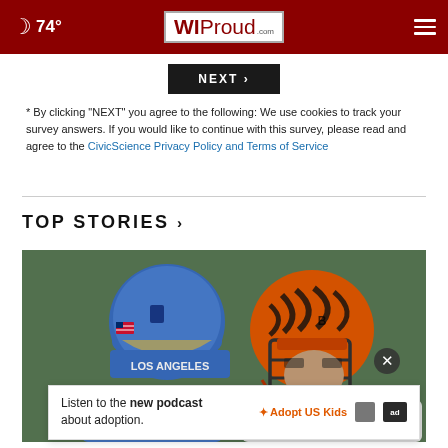74° WIProud.com
NEXT
* By clicking "NEXT" you agree to the following: We use cookies to track your survey answers. If you would like to continue with this survey, please read and agree to the CivicScience Privacy Policy and Terms of Service
TOP STORIES ›
[Figure (photo): Two NFL football players facing each other: one wearing a Los Angeles Rams blue helmet, the other wearing a Cincinnati Bengals orange tiger-stripe helmet with face mask]
Listen to the new podcast about adoption.